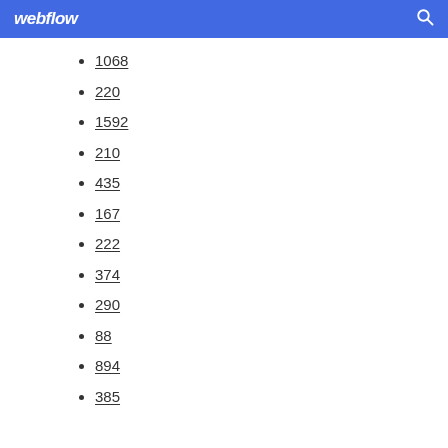webflow
1068
220
1592
210
435
167
222
374
290
88
894
385